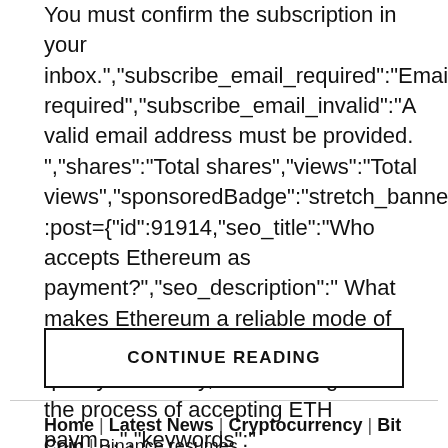You must confirm the subscription in your inbox.","subscribe_email_required":"Email required","subscribe_email_invalid":"A valid email address must be provided. ","shares":"Total shares","views":"Total views","sponsoredBadge":"stretch_banners.sponsored.bad :post={"id":91914,"seo_title":"Who accepts Ethereum as payment?","seo_description":" What makes Ethereum a reliable mode of payment? Find what makes Ether qualify as money, its advantages and the process of accepting ETH paym…","keywords":" Ethereum,Payments,Transactions,Adoption,Blockchain ","canonical":"https://cointelegraph.com/explained/who-accepts-ethereum-as-payment","thumb":"https://images.cointelegraph.com/ima
CONTINUE READING
Home | Latest News | Cryptocurrency | Bit Coin | Binance resumes